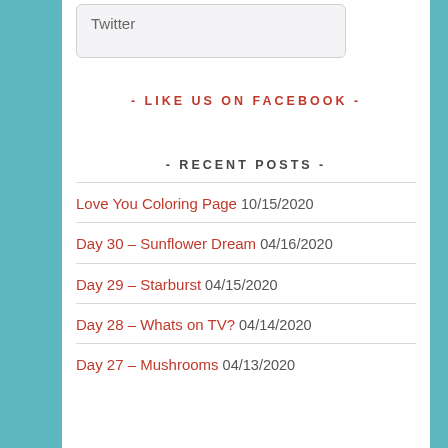Twitter
- LIKE US ON FACEBOOK -
- RECENT POSTS -
Love You Coloring Page 10/15/2020
Day 30 – Sunflower Dream 04/16/2020
Day 29 – Starburst 04/15/2020
Day 28 – Whats on TV? 04/14/2020
Day 27 – Mushrooms 04/13/2020